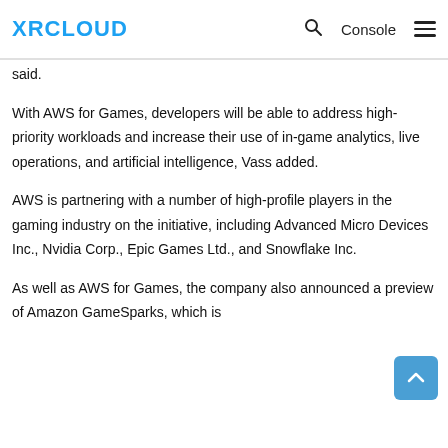XRCLOUD | Console
said.
With AWS for Games, developers will be able to address high-priority workloads and increase their use of in-game analytics, live operations, and artificial intelligence, Vass added.
AWS is partnering with a number of high-profile players in the gaming industry on the initiative, including Advanced Micro Devices Inc., Nvidia Corp., Epic Games Ltd., and Snowflake Inc.
As well as AWS for Games, the company also announced a preview of Amazon GameSparks, which is